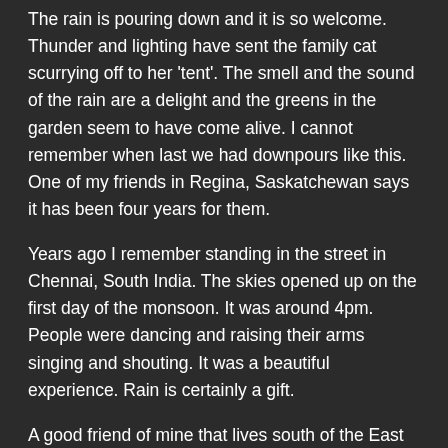The rain is pouring down and it is so welcome. Thunder and lighting have sent the family cat scurrying off to her 'tent'. The smell and the sound of the rain are a delight and the greens in the garden seem to have come alive. I cannot remember when last we had downpours like this. One of my friends in Regina, Saskatchewan says it has been four years for them.
Years ago I remember standing in the street in Chennai, South India. The skies opened up on the first day of the monsoon. It was around 4pm. People were dancing and raising their arms singing and shouting. It was a beautiful experience. Rain is certainly a gift.
A good friend of mine that lives south of the East Kootenays, at the base of the Purcell Mtns, wrote to me yesterday to tell me about the drought in their area. They have been warned that the wildfires in their area of British Columbia will be worse this year and already the creek